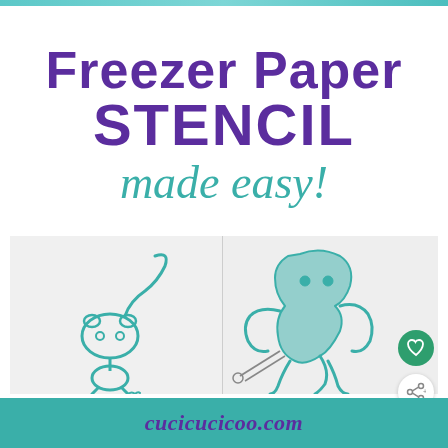Freezer Paper STENCIL made easy!
[Figure (photo): Photo showing two fabric stencil art pieces: on the left, a simple teal outline of a cat-like creature on white fabric; on the right, a more detailed teal painted monster/creature figure on white fabric with scissors visible]
cucicucicoo.com